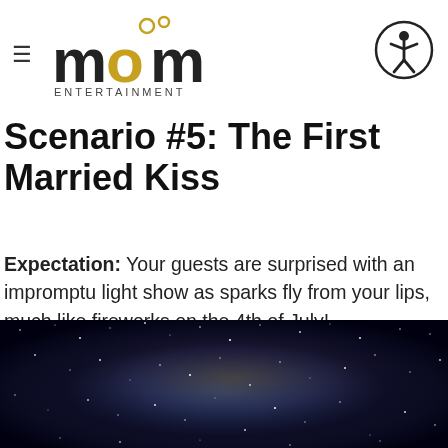MDM Entertainment logo and navigation header
Scenario #5: The First Married Kiss
Expectation: Your guests are surprised with an impromptu light show as sparks fly from your lips, much like fireworks on the 4th of July!
[Figure (photo): Night sky with stars and a galaxy/nebula visible, dark space image]